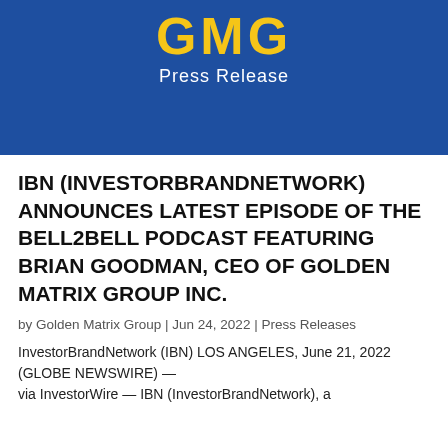[Figure (logo): GMG (Golden Matrix Group) logo with text 'Press Release' on a blue background banner]
IBN (INVESTORBRANDNETWORK) ANNOUNCES LATEST EPISODE OF THE BELL2BELL PODCAST FEATURING BRIAN GOODMAN, CEO OF GOLDEN MATRIX GROUP INC.
by Golden Matrix Group | Jun 24, 2022 | Press Releases
InvestorBrandNetwork (IBN) LOS ANGELES, June 21, 2022 (GLOBE NEWSWIRE) — via InvestorWire — IBN (InvestorBrandNetwork), a